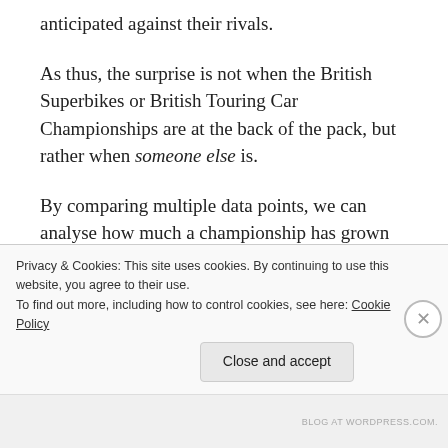anticipated against their rivals.
As thus, the surprise is not when the British Superbikes or British Touring Car Championships are at the back of the pack, but rather when someone else is.
By comparing multiple data points, we can analyse how much a championship has grown over a given period, ranking this data to see which series is the best and worst performer within the data set (1st means fastest growth of the championships tracked
Privacy & Cookies: This site uses cookies. By continuing to use this website, you agree to their use.
To find out more, including how to control cookies, see here: Cookie Policy
Close and accept